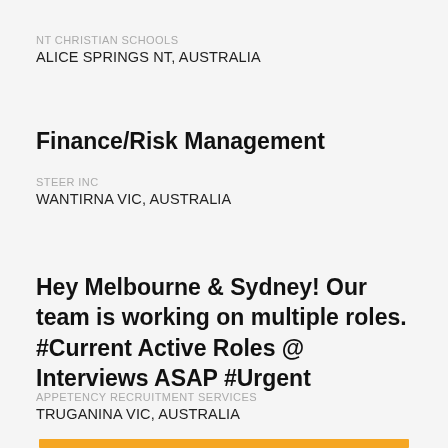NT CHRISTIAN SCHOOLS
ALICE SPRINGS NT, AUSTRALIA
Finance/Risk Management
STEER INC
WANTIRNA VIC, AUSTRALIA
Hey Melbourne & Sydney! Our team is working on multiple roles. #Current Active Roles @ Interviews ASAP #Urgent
APPETENCY RECRUITMENT SERVICES
TRUGANINA VIC, AUSTRALIA